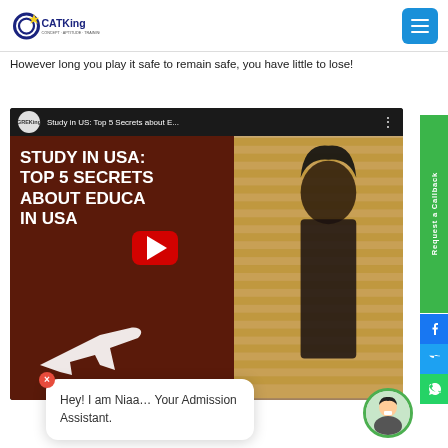CATKing
However long you play it safe to remain safe, you have little to lose!
[Figure (screenshot): YouTube video thumbnail: Study in US: Top 5 Secrets about E... with GREKing channel logo. Video shows bold white text on dark brown background: STUDY IN USA: TOP 5 SECRETS ABOUT EDUCATION IN USA with airplane silhouette, and a woman on the right side. Red YouTube play button in center. Request a Callback green sidebar on right with Facebook, Twitter, WhatsApp social icons.]
Hey! I am Niaa... Your Admission Assistant.